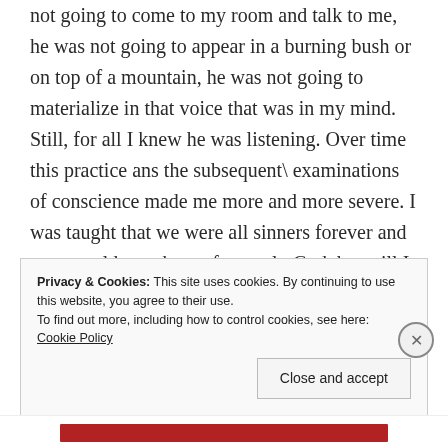not going to come to my room and talk to me, he was not going to appear in a burning bush or on top of a mountain, he was not going to materialize in that voice that was in my mind.  Still, for all I knew he was listening. Over time this practice ans the subsequent\ examinations of conscience made me more and more severe. I was taught that we were all sinners forever and none could ever be perfect, only God, but still I intended to change my attitudes to stop making the same mistakes over and over again.  Each passing day fewer fouls were committed, through this I generated
Privacy & Cookies: This site uses cookies. By continuing to use this website, you agree to their use.
To find out more, including how to control cookies, see here: Cookie Policy
Close and accept